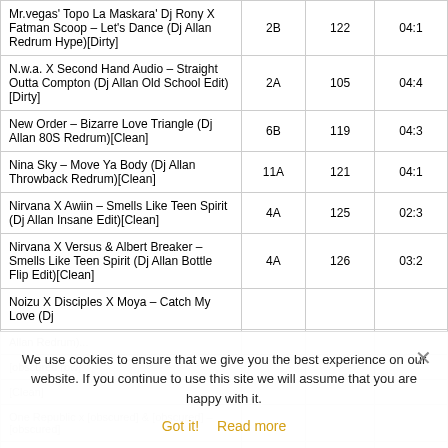| Title | Key | BPM | Time |
| --- | --- | --- | --- |
| Mr.vegas' Topo La Maskara' Dj Rony X Fatman Scoop – Let's Dance (Dj Allan Redrum Hype)[Dirty] | 2B | 122 | 04:1 |
| N.w.a. X Second Hand Audio – Straight Outta Compton (Dj Allan Old School Edit)[Dirty] | 2A | 105 | 04:4 |
| New Order – Bizarre Love Triangle (Dj Allan 80S Redrum)[Clean] | 6B | 119 | 04:3 |
| Nina Sky – Move Ya Body (Dj Allan Throwback Redrum)[Clean] | 11A | 121 | 04:1 |
| Nirvana X Awiin – Smells Like Teen Spirit (Dj Allan Insane Edit)[Clean] | 4A | 125 | 02:3 |
| Nirvana X Versus & Albert Breaker – Smells Like Teen Spirit (Dj Allan Bottle Flip Edit)[Clean] | 4A | 126 | 03:2 |
| Noizu X Disciples X Moya – Catch My Love (Dj Allan Redrum)[...] |  |  |  |
| [partially visible row] |  |  |  |
| [partially visible row] |  |  |  |
| One Republic X [obscured] – [obscured][Clean] |  |  |  |
We use cookies to ensure that we give you the best experience on our website. If you continue to use this site we will assume that you are happy with it.